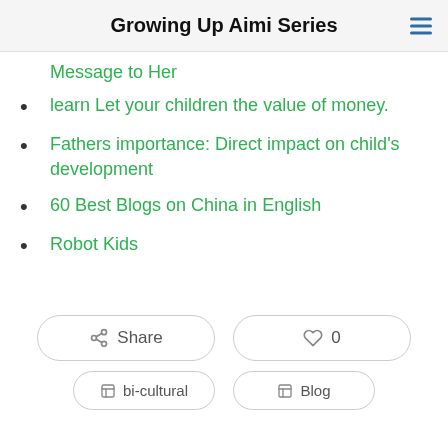Growing Up Aimi Series
Message to Her
learn Let your children the value of money.
Fathers importance: Direct impact on child's development
60 Best Blogs on China in English
Robot Kids
Share  0
bi-cultural  Blog